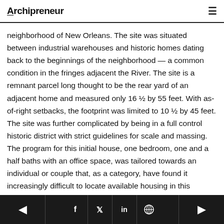Archipreneur
neighborhood of New Orleans. The site was situated between industrial warehouses and historic homes dating back to the beginnings of the neighborhood — a common condition in the fringes adjacent the River. The site is a remnant parcel long thought to be the rear yard of an adjacent home and measured only 16 ½ by 55 feet. With as-of-right setbacks, the footprint was limited to 10 ½ by 45 feet. The site was further complicated by being in a full control historic district with strict guidelines for scale and massing. The program for this initial house, one bedroom, one and a half baths with an office space, was tailored towards an individual or couple that, as a category, have found it increasingly difficult to locate available housing in this neighborhood.
◄  f  𝕏  in  ⊕  ►